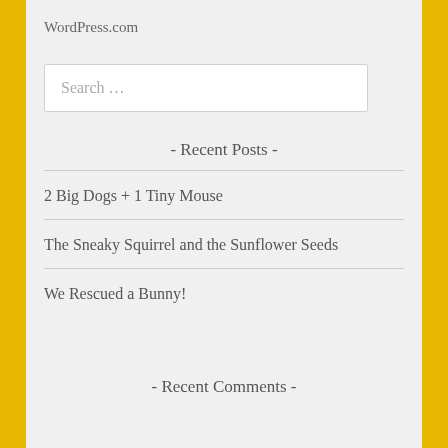WordPress.com
Search …
- Recent Posts -
2 Big Dogs + 1 Tiny Mouse
The Sneaky Squirrel and the Sunflower Seeds
We Rescued a Bunny!
- Recent Comments -